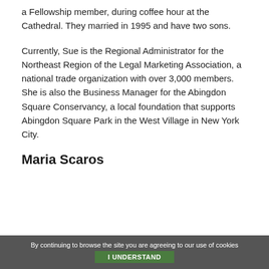a Fellowship member, during coffee hour at the Cathedral. They married in 1995 and have two sons.
Currently, Sue is the Regional Administrator for the Northeast Region of the Legal Marketing Association, a national trade organization with over 3,000 members. She is also the Business Manager for the Abingdon Square Conservancy, a local foundation that supports Abingdon Square Park in the West Village in New York City.
Maria Scaros
By continuing to browse the site you are agreeing to our use of cookies